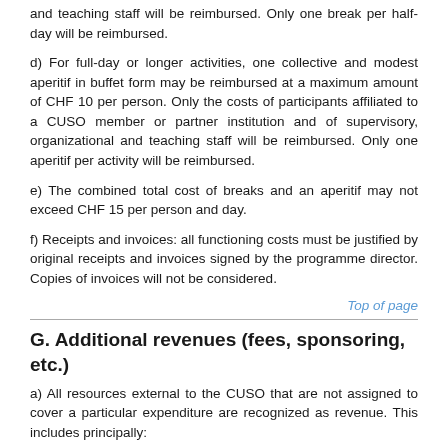and teaching staff will be reimbursed. Only one break per half-day will be reimbursed.
d) For full-day or longer activities, one collective and modest aperitif in buffet form may be reimbursed at a maximum amount of CHF 10 per person. Only the costs of participants affiliated to a CUSO member or partner institution and of supervisory, organizational and teaching staff will be reimbursed. Only one aperitif per activity will be reimbursed.
e) The combined total cost of breaks and an aperitif may not exceed CHF 15 per person and day.
f) Receipts and invoices: all functioning costs must be justified by original receipts and invoices signed by the programme director. Copies of invoices will not be considered.
Top of page
G. Additional revenues (fees, sponsoring, etc.)
a) All resources external to the CUSO that are not assigned to cover a particular expenditure are recognized as revenue. This includes principally:
Fees paid by persons employed by private companies or external institutions towards their participation in courses and